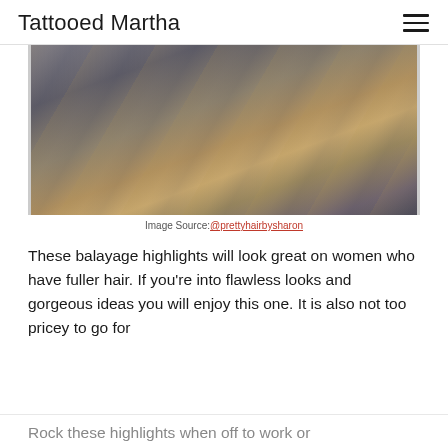Tattooed Martha
[Figure (photo): Back view of a woman with long wavy balayage highlighted hair, wearing a blue denim jacket, photographed in a salon setting.]
Image Source: @prettyhairbysharon
These balayage highlights will look great on women who have fuller hair. If you're into flawless looks and gorgeous ideas you will enjoy this one. It is also not too pricey to go for
Rock these highlights when off to work or